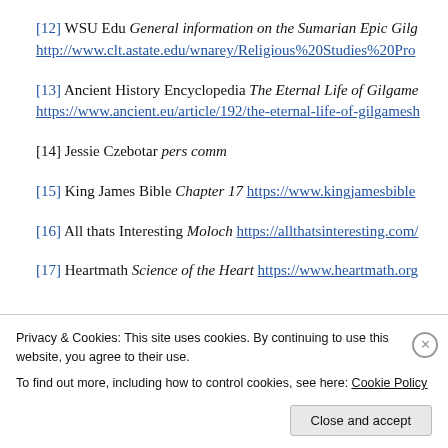[12] WSU Edu General information on the Sumarian Epic Gilg... http://www.clt.astate.edu/wnarey/Religious%20Studies%20Pro...
[13] Ancient History Encyclopedia The Eternal Life of Gilgame... https://www.ancient.eu/article/192/the-eternal-life-of-gilgamesh...
[14] Jessie Czebotar pers comm
[15] King James Bible Chapter 17 https://www.kingjamesbible...
[16] All thats Interesting Moloch https://allthatsinteresting.com/...
[17] Heartmath Science of the Heart https://www.heartmath.org...
Privacy & Cookies: This site uses cookies. By continuing to use this website, you agree to their use.
To find out more, including how to control cookies, see here: Cookie Policy